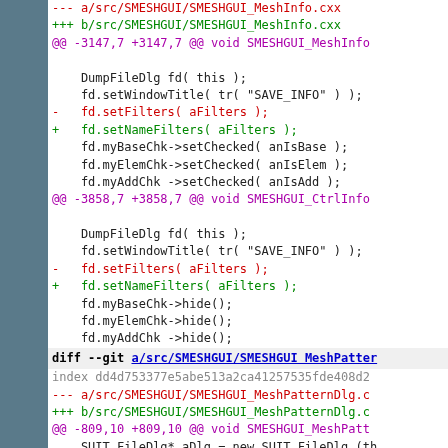[Figure (screenshot): Git diff output showing code changes in SMESHGUI_MeshInfo.cxx and SMESHGUI_MeshPatternDlg files, with removed lines in red and added lines in green, hunk headers in purple, and context lines in black.]